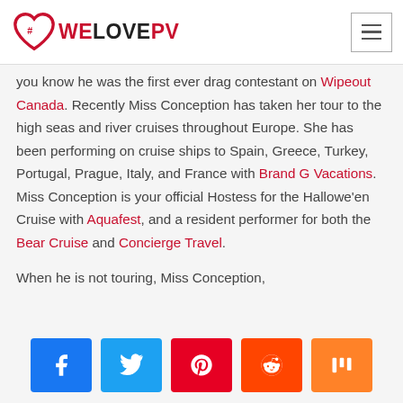#WELOVEPV
you know he was the first ever drag contestant on Wipeout Canada. Recently Miss Conception has taken her tour to the high seas and river cruises throughout Europe. She has been performing on cruise ships to Spain, Greece, Turkey, Portugal, Prague, Italy, and France with Brand G Vacations. Miss Conception is your official Hostess for the Hallowe'en Cruise with Aquafest, and a resident performer for both the Bear Cruise and Concierge Travel.
When he is not touring, Miss Conception,